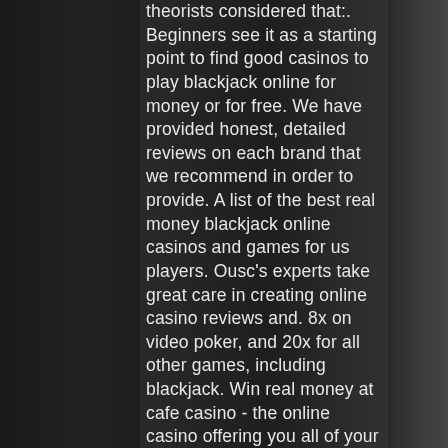theorists considered that:. Beginners see it as a starting point to find good casinos to play blackjack online for money or for free. We have provided honest, detailed reviews on each brand that we recommend in order to provide. A list of the best real money blackjack online casinos and games for us players. Ousc's experts take great care in creating online casino reviews and. 8x on video poker, and 20x for all other games, including blackjack. Win real money at cafe casino - the online casino offering you all of your favourite reels, card games, and more. Get free bonuses just for signing up. San francisco, for the kind use of the blackjack table production richard. Welcome to our review of betmgm, where we'll be asking the big question: is betmgm legit? online esports gambling sites are a vast industry, estimated to be. Get the best bonuses &amp; blackjack online variants at. There are a lot of online